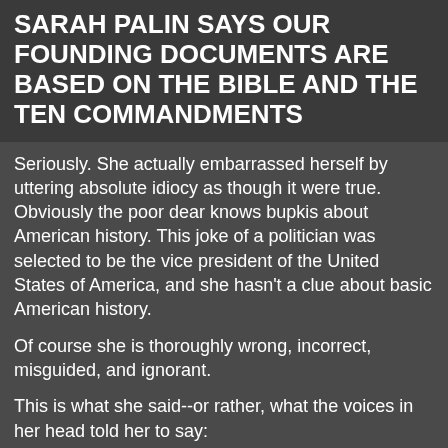SARAH PALIN SAYS OUR FOUNDING DOCUMENTS ARE BASED ON THE BIBLE AND THE TEN COMMANDMENTS
Seriously.  She actually embarrassed herself by uttering absolute idiocy as though it were true.  Obviously the poor dear knows bupkis about American history.  This joke of a politician was selected to be the vice president of the United States of America, and she hasn't a clue about basic American history.
Of course she is thoroughly wrong, incorrect, misguided, and ignorant.
This is what she said--or rather, what the voices in her head told her to say:
“Go back to what our founders and our founding documents meant – they’re quite clear – that we would create law based on the God of the bible and the ten commandments.